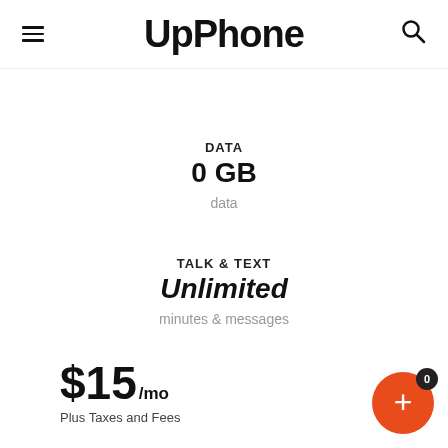UpPhone
DATA
0 GB
data
TALK & TEXT
Unlimited
minutes & messages
$15 /mo
Plus Taxes and Fees